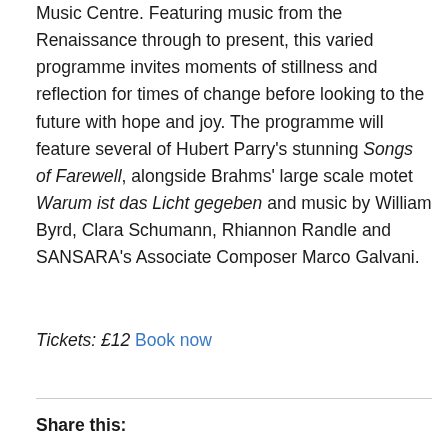Music Centre. Featuring music from the Renaissance through to present, this varied programme invites moments of stillness and reflection for times of change before looking to the future with hope and joy. The programme will feature several of Hubert Parry's stunning Songs of Farewell, alongside Brahms' large scale motet Warum ist das Licht gegeben and music by William Byrd, Clara Schumann, Rhiannon Randle and SANSARA's Associate Composer Marco Galvani.
Tickets: £12 Book now
Share this: